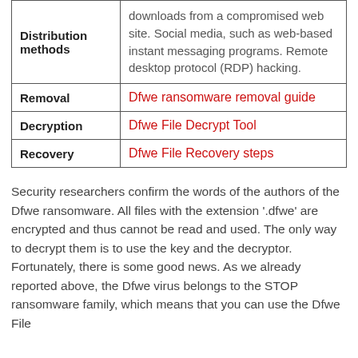|  |  |
| --- | --- |
| Distribution methods | downloads from a compromised web site. Social media, such as web-based instant messaging programs. Remote desktop protocol (RDP) hacking. |
| Removal | Dfwe ransomware removal guide |
| Decryption | Dfwe File Decrypt Tool |
| Recovery | Dfwe File Recovery steps |
Security researchers confirm the words of the authors of the Dfwe ransomware. All files with the extension '.dfwe' are encrypted and thus cannot be read and used. The only way to decrypt them is to use the key and the decryptor. Fortunately, there is some good news. As we already reported above, the Dfwe virus belongs to the STOP ransomware family, which means that you can use the Dfwe File